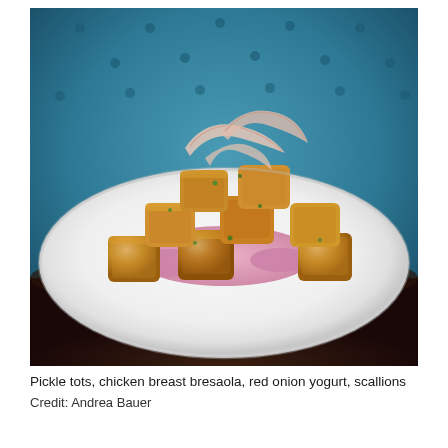[Figure (photo): A gourmet restaurant dish: crispy golden-fried pickle tots/cubes piled on a white plate with pink-purple red onion yogurt sauce spread underneath, garnished with thin ribbons of cured chicken breast bresaola and fresh herbs including scallions. Background is a tufted teal/blue velvet surface.]
Pickle tots, chicken breast bresaola, red onion yogurt, scallions
Credit: Andrea Bauer